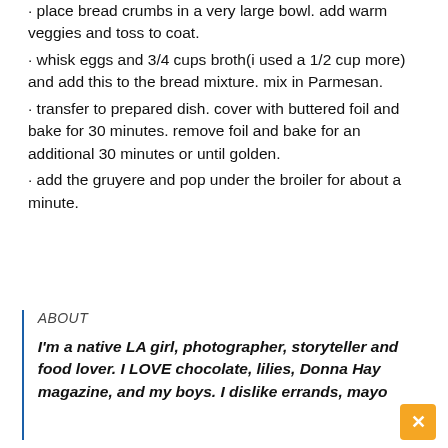• place bread crumbs in a very large bowl. add warm veggies and toss to coat.
• whisk eggs and 3/4 cups broth(i used a 1/2 cup more) and add this to the bread mixture. mix in Parmesan.
• transfer to prepared dish. cover with buttered foil and bake for 30 minutes. remove foil and bake for an additional 30 minutes or until golden.
• add the gruyere and pop under the broiler for about a minute.
ABOUT
I'm a native LA girl, photographer, storyteller and food lover. I LOVE chocolate, lilies, Donna Hay magazine, and my boys. I dislike errands, mayo